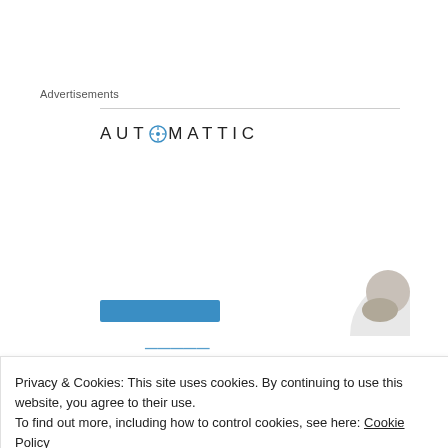Advertisements
[Figure (logo): Automattic logo with compass icon and stylized uppercase AUTOMATTIC text]
[Figure (infographic): Automattic advertisement: 'Build a better web and a better world.' with blue CTA button and person photo]
Privacy & Cookies: This site uses cookies. By continuing to use this website, you agree to their use.
To find out more, including how to control cookies, see here: Cookie Policy
Close and accept
project to work on